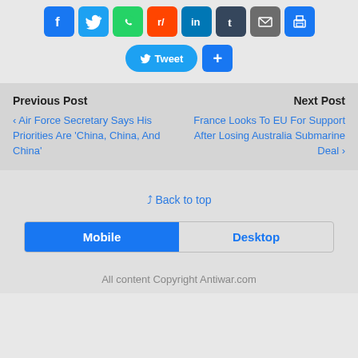[Figure (screenshot): Social media sharing buttons: Facebook, Twitter, WhatsApp, Reddit, LinkedIn, Tumblr, Email, Print icons]
[Figure (screenshot): Tweet button and plus/share button]
Previous Post
< Air Force Secretary Says His Priorities Are 'China, China, And China'
Next Post
France Looks To EU For Support After Losing Australia Submarine Deal >
Back to top
[Figure (screenshot): Mobile / Desktop toggle buttons]
All content Copyright Antiwar.com